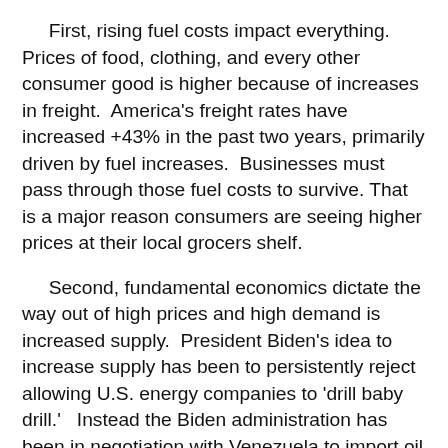First, rising fuel costs impact everything. Prices of food, clothing, and every other consumer good is higher because of increases in freight. America's freight rates have increased +43% in the past two years, primarily driven by fuel increases. Businesses must pass through those fuel costs to survive. That is a major reason consumers are seeing higher prices at their local grocers shelf.
Second, fundamental economics dictate the way out of high prices and high demand is increased supply. President Biden's idea to increase supply has been to persistently reject allowing U.S. energy companies to 'drill baby drill.' Instead the Biden administration has been in negotiation with Venezuela to import oil to the U.S. Back in 2012, President Obama and then Vice President Biden said that America could not drill its way to lower gasoline prices, but U.S. energy companies proved them wrong.